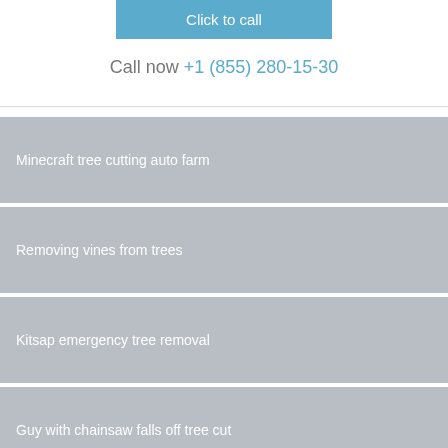Click to call
Call now +1 (855) 280-15-30
Minecraft tree cutting auto farm
Removing vines from trees
Kitsap emergency tree removal
Guy with chainsaw falls off tree cut
Pruning double knockout rose bush